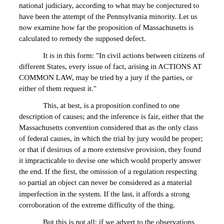national judiciary, according to what may be conjectured to have been the attempt of the Pennsylvania minority. Let us now examine how far the proposition of Massachusetts is calculated to remedy the supposed defect.
It is in this form: "In civil actions between citizens of different States, every issue of fact, arising in ACTIONS AT COMMON LAW, may be tried by a jury if the parties, or either of them request it."
This, at best, is a proposition confined to one description of causes; and the inference is fair, either that the Massachusetts convention considered that as the only class of federal causes, in which the trial by jury would be proper; or that if desirous of a more extensive provision, they found it impracticable to devise one which would properly answer the end. If the first, the omission of a regulation respecting so partial an object can never be considered as a material imperfection in the system. If the last, it affords a strong corroboration of the extreme difficulty of the thing.
But this is not all: if we advert to the observations already made respecting the courts that subsist in the several States of the Union, and the different powers exercised by them, it will appear that there are no expressions more vague and indeterminate than those which have been employed to characterize THAT species of causes which it is intended shall be entitled to a trial by jury. In this State, the boundaries between